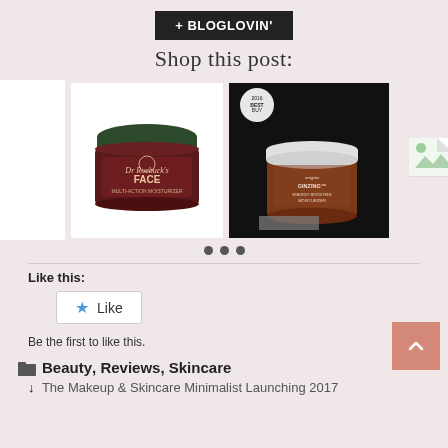[Figure (logo): + BLOGLOVIN' button/badge in black rectangle]
Shop this post:
[Figure (photo): Product carousel showing two skincare cream jars (Dr Roebuck's FACE and Origins moisturizer) with left/right navigation arrows and pagination dots]
Like this:
[Figure (other): Like button with star icon]
Be the first to like this.
Beauty, Reviews, Skincare
The Makeup & Skincare Minimalist Launching 2017